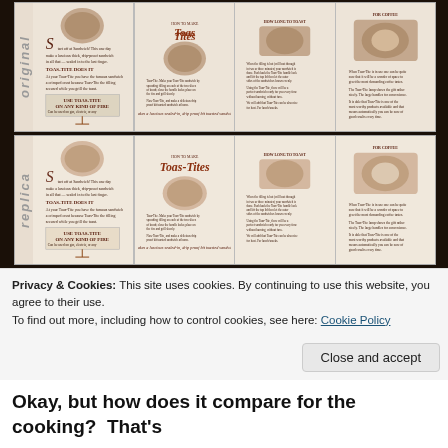[Figure (photo): Photograph of an open vintage brochure/pamphlet for 'Toas-Tites' sandwich maker, shown twice — once labeled 'original' (top) and once labeled 'replica' (bottom). The brochure panels show sepia-toned illustrations of the product, instructions for making Toas-Tites, and text 'HOW TO MAKE Toas-Tites', 'Makes a luscious sealed-in, drip proof bit toasted sandwich'. Both versions are displayed on a dark wooden background.]
Privacy & Cookies: This site uses cookies. By continuing to use this website, you agree to their use.
To find out more, including how to control cookies, see here: Cookie Policy
Close and accept
Okay, but how does it compare for the cooking?  That's